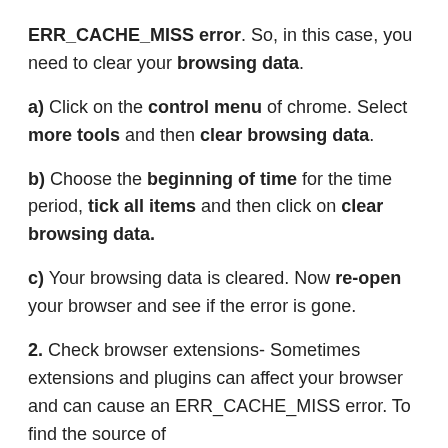ERR_CACHE_MISS error. So, in this case, you need to clear your browsing data.
a) Click on the control menu of chrome. Select more tools and then clear browsing data.
b) Choose the beginning of time for the time period, tick all items and then click on clear browsing data.
c) Your browsing data is cleared. Now re-open your browser and see if the error is gone.
2. Check browser extensions- Sometimes extensions and plugins can affect your browser and can cause an ERR_CACHE_MISS error. To find the source of